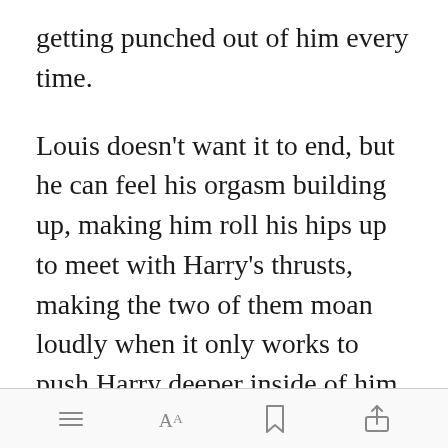getting punched out of him every time.
Louis doesn't want it to end, but he can feel his orgasm building up, making him roll his hips up to meet with Harry's thrusts, making the two of them moan loudly when it only works to push Harry deeper inside of him. Harry bends forwards once more and kiss [Open in app] messily,
Toolbar with menu, font size, bookmark, and share icons